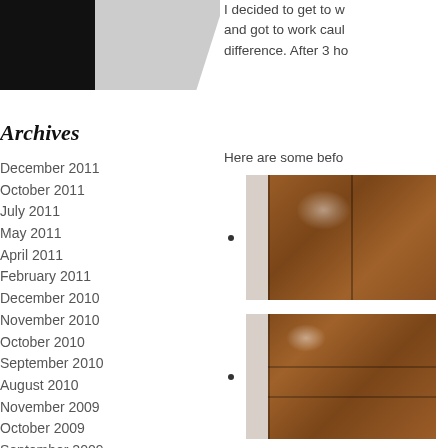Archives
December 2011
October 2011
July 2011
May 2011
April 2011
February 2011
December 2010
November 2010
October 2010
September 2010
August 2010
November 2009
October 2009
September 2009
July 2009
April 2009
February 2009
I decided to get to w... and got to work caul... difference. After 3 ho...
Here are some befo...
[Figure (photo): Photo of wooden closet doors before treatment]
[Figure (photo): Photo of wooden closet doors with shelf visible]